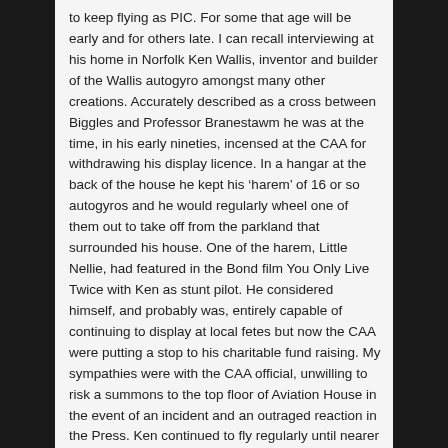to keep flying as PIC. For some that age will be early and for others late. I can recall interviewing at his home in Norfolk Ken Wallis, inventor and builder of the Wallis autogyro amongst many other creations. Accurately described as a cross between Biggles and Professor Branestawm he was at the time, in his early nineties, incensed at the CAA for withdrawing his display licence. In a hangar at the back of the house he kept his ‘harem’ of 16 or so autogyros and he would regularly wheel one of them out to take off from the parkland that surrounded his house. One of the harem, Little Nellie, had featured in the Bond film You Only Live Twice with Ken as stunt pilot. He considered himself, and probably was, entirely capable of continuing to display at local fetes but now the CAA were putting a stop to his charitable fund raising. My sympathies were with the CAA official, unwilling to risk a summons to the top floor of Aviation House in the event of an incident and an outraged reaction in the Press. Ken continued to fly regularly until nearer his death at the age of 97.